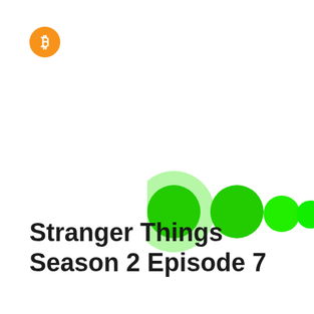[Figure (logo): Orange circular Bitcoin logo icon with white B symbol, positioned top-left]
[Figure (illustration): Four green circles of decreasing size arranged horizontally from left to right in the center-right area of the page. The leftmost circle is largest with a darker green center creating a concentric ring effect, and each successive circle is smaller and more uniformly bright green.]
Stranger Things Season 2 Episode 7